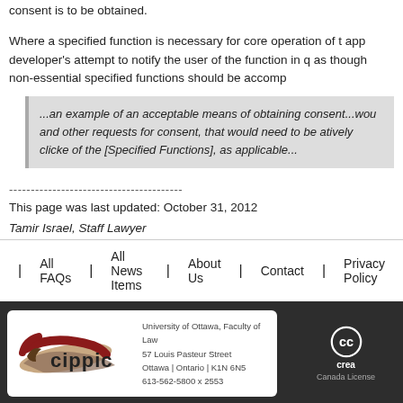consent is to be obtained.
Where a specified function is necessary for core operation of the app developer's attempt to notify the user of the function in question as though non-essential specified functions should be accompanied...
...an example of an acceptable means of obtaining consent...would and other requests for consent, that would need to be atively clicked of the [Specified Functions], as applicable...
----------------------------------------
This page was last updated: October 31, 2012
Tamir Israel, Staff Lawyer
All FAQs | All News Items | About Us | Contact | Privacy Policy
[Figure (logo): CIPPIC logo with University of Ottawa Faculty of Law address]
[Figure (logo): Creative Commons license logo partial]